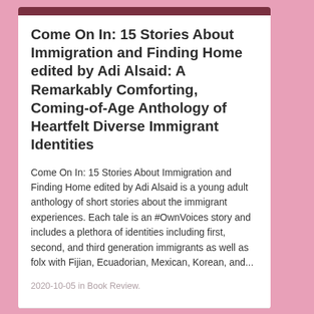[Figure (photo): Top strip of book cover image in dark maroon/brown color]
Come On In: 15 Stories About Immigration and Finding Home edited by Adi Alsaid: A Remarkably Comforting, Coming-of-Age Anthology of Heartfelt Diverse Immigrant Identities
Come On In: 15 Stories About Immigration and Finding Home edited by Adi Alsaid is a young adult anthology of short stories about the immigrant experiences. Each tale is an #OwnVoices story and includes a plethora of identities including first, second, and third generation immigrants as well as folx with Fijian, Ecuadorian, Mexican, Korean, and...
2020-10-05 in Book Review.